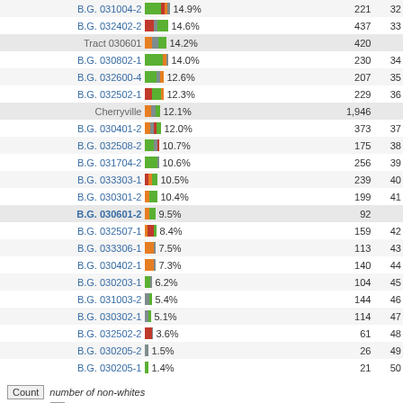| Name | Bar | % | Count | # |
| --- | --- | --- | --- | --- |
| B.G. 031004-2 | bar | 14.9% | 221 | 32 |
| B.G. 032402-2 | bar | 14.6% | 437 | 33 |
| Tract 030601 | bar | 14.2% | 420 |  |
| B.G. 030802-1 | bar | 14.0% | 230 | 34 |
| B.G. 032600-4 | bar | 12.6% | 207 | 35 |
| B.G. 032502-1 | bar | 12.3% | 229 | 36 |
| Cherryville | bar | 12.1% | 1,946 |  |
| B.G. 030401-2 | bar | 12.0% | 373 | 37 |
| B.G. 032508-2 | bar | 10.7% | 175 | 38 |
| B.G. 031704-2 | bar | 10.6% | 256 | 39 |
| B.G. 033303-1 | bar | 10.5% | 239 | 40 |
| B.G. 030301-2 | bar | 10.4% | 199 | 41 |
| B.G. 030601-2 | bar | 9.5% | 92 |  |
| B.G. 032507-1 | bar | 8.4% | 159 | 42 |
| B.G. 033306-1 | bar | 7.5% | 113 | 43 |
| B.G. 030402-1 | bar | 7.3% | 140 | 44 |
| B.G. 030203-1 | bar | 6.2% | 104 | 45 |
| B.G. 031003-2 | bar | 5.4% | 144 | 46 |
| B.G. 030302-1 | bar | 5.1% | 114 | 47 |
| B.G. 032502-2 | bar | 3.6% | 61 | 48 |
| B.G. 030205-2 | bar | 1.5% | 26 | 49 |
| B.G. 030205-1 | bar | 1.4% | 21 | 50 |
Count  number of non-whites
#  rank of block group out of 50 by percentage non-white
1 non-Hispanic    2 excluding black and Asian Hispanics
Relative Race and Ethnicity by Block Group  #11